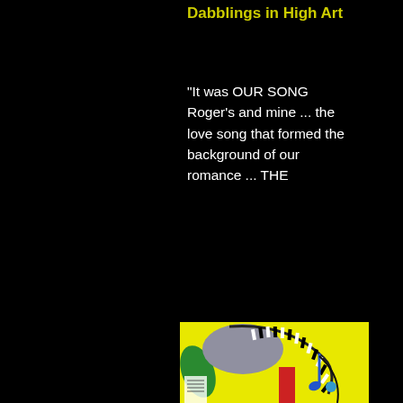Dabblings in High Art
"It was OUR SONG Roger's and mine ... the love song that formed the background of our romance ... THE
[Figure (illustration): Colorful illustration on yellow background showing an abstract piano keyboard curving upward in a dramatic arc, with a grey rounded shape, green leaf element, blue musical notes with stems, and a red vertical element. Music sheets visible at bottom.]